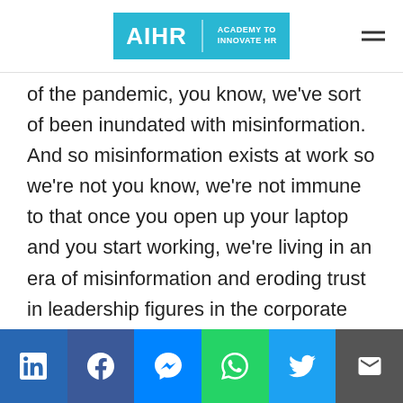AIHR | ACADEMY TO INNOVATE HR
of the pandemic, you know, we've sort of been inundated with misinformation. And so misinformation exists at work so we're not you know, we're not immune to that once you open up your laptop and you start working, we're living in an era of misinformation and eroding trust in leadership figures in the corporate setting as well. We have eroded trust in institutions. And so I think a lot of people who wake up and watch the news and then go
Social share bar: LinkedIn, Facebook, Messenger, WhatsApp, Twitter, Email